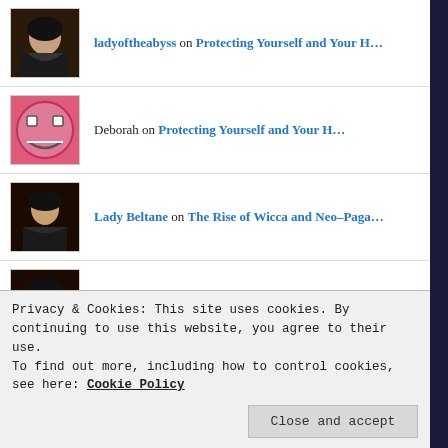ladyoftheabyss on Protecting Yourself and Your H…
Deborah on Protecting Yourself and Your H…
Lady Beltane on The Rise of Wicca and Neo-Paga…
ladyoftheabyss on The Path Of The Water Witch
[Figure (illustration): Dark banner image with pentagram symbols and text 'There Are More Of']
Privacy & Cookies: This site uses cookies. By continuing to use this website, you agree to their use. To find out more, including how to control cookies, see here: Cookie Policy
Close and accept